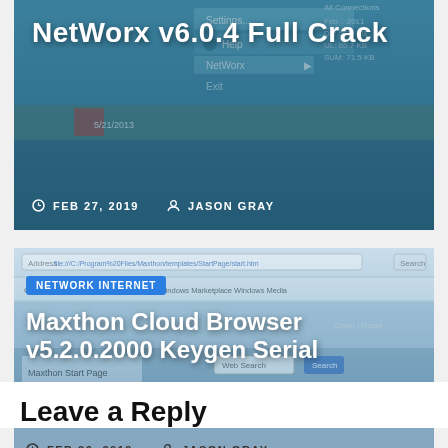[Figure (screenshot): Screenshot of NetWorx v6.0.4 software interface with title overlay 'NetWorx v6.0.4 Full Crack', date FEB 27, 2019, author JASON GRAY]
[Figure (screenshot): Screenshot of Maxthon browser start page with category badge 'NETWORK INTERNET' and title overlay 'Maxthon Cloud Browser v5.2.0.2000 Keygen Serial', date FEB 26, 2019, author JASON GRAY]
Leave a Reply